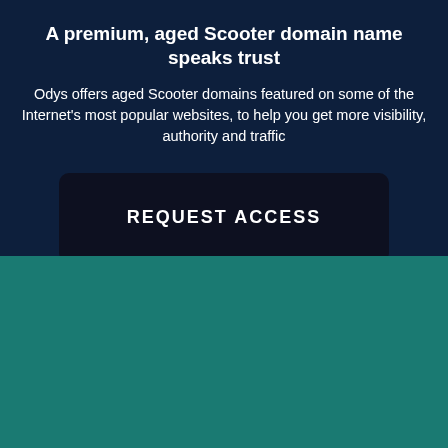A premium, aged Scooter domain name speaks trust
Odys offers aged Scooter domains featured on some of the Internet's most popular websites, to help you get more visibility, authority and traffic
REQUEST ACCESS